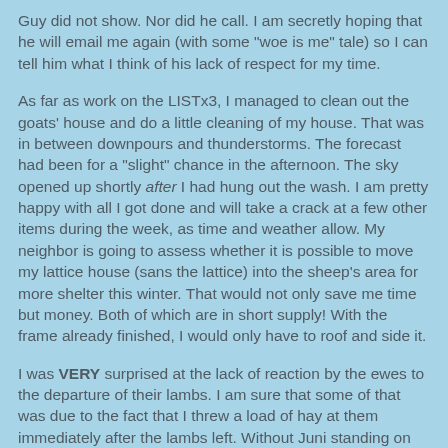Guy did not show.  Nor did he call.  I am secretly hoping that he will email me again (with some "woe is me" tale) so I can tell him what I think of his lack of respect for my time.
As far as work on the LISTx3, I managed to clean out the goats' house and do a little cleaning of my house.  That was in between downpours and thunderstorms.  The forecast had been for a "slight" chance in the afternoon.  The sky opened up shortly after I had hung out the wash.  I am pretty happy with all I got done and will take a crack at a few other items during the week, as time and weather allow.  My neighbor is going to assess whether it is possible to move my lattice house (sans the lattice) into the sheep's area for more shelter this winter.  That would not only save me time but money.  Both of which are in short supply!  With the frame already finished, I would only have to roof and side it.
I was VERY surprised at the lack of reaction by the ewes to the departure of their lambs.  I am sure that some of that was due to the fact that I threw a load of hay at them immediately after the lambs left.  Without Juni standing on the hay wagon, it was easier to get at the good bits.  And is it sure is